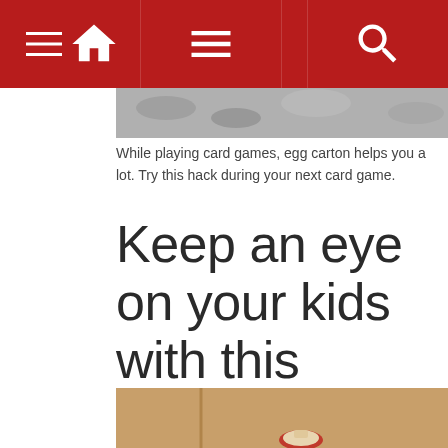[Navigation bar with home, menu, and search icons]
[Figure (photo): Top portion of a photo showing egg carton texture (gravel/rocks pattern)]
While playing card games, egg carton helps you a lot. Try this hack during your next card game.
Keep an eye on your kids with this amazing hack
[Figure (photo): A brown cardboard door or surface with a small audio device (earphone with cord) attached or hanging from it]